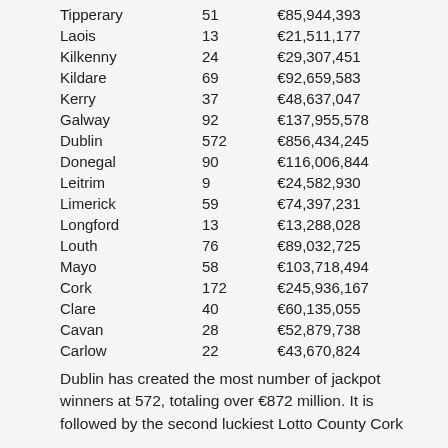| County | Count | Amount |
| --- | --- | --- |
| Tipperary | 51 | €85,944,393 |
| Laois | 13 | €21,511,177 |
| Kilkenny | 24 | €29,307,451 |
| Kildare | 69 | €92,659,583 |
| Kerry | 37 | €48,637,047 |
| Galway | 92 | €137,955,578 |
| Dublin | 572 | €856,434,245 |
| Donegal | 90 | €116,006,844 |
| Leitrim | 9 | €24,582,930 |
| Limerick | 59 | €74,397,231 |
| Longford | 13 | €13,288,028 |
| Louth | 76 | €89,032,725 |
| Mayo | 58 | €103,718,494 |
| Cork | 172 | €245,936,167 |
| Clare | 40 | €60,135,055 |
| Cavan | 28 | €52,879,738 |
| Carlow | 22 | €43,670,824 |
Dublin has created the most number of jackpot winners at 572, totaling over €872 million. It is followed by the second luckiest Lotto County Cork